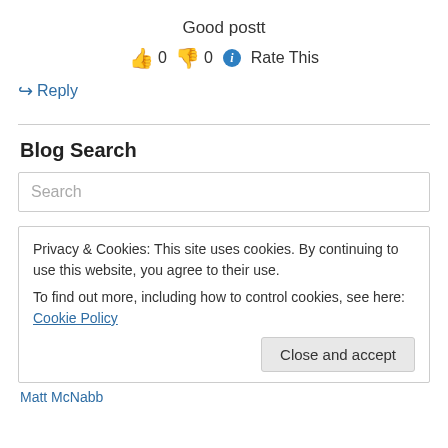Good postt
👍 0 👎 0 ℹ Rate This
↪ Reply
Blog Search
Search
Privacy & Cookies: This site uses cookies. By continuing to use this website, you agree to their use.
To find out more, including how to control cookies, see here: Cookie Policy
Close and accept
Matt McNabb